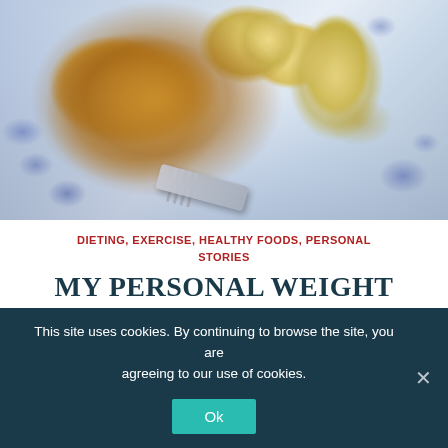[Figure (photo): A blue and white decorative plate with a golden-brown omelette, apple slices, and a fork. Viewed from above on a dark surface.]
DIETING, EXERCISE, HEALTHY FOODS, PERSONAL STORIES
MY PERSONAL WEIGHT LOSS JOURNEY (FOURTEENTH IN A SERIES)
This site uses cookies. By continuing to browse the site, you are agreeing to our use of cookies.